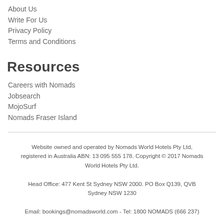About Us
Write For Us
Privacy Policy
Terms and Conditions
Resources
Careers with Nomads
Jobsearch
MojoSurf
Nomads Fraser Island
Website owned and operated by Nomads World Hotels Pty Ltd, registered in Australia ABN: 13 095 555 178. Copyright © 2017 Nomads World Hotels Pty Ltd.
Head Office: 477 Kent St Sydney NSW 2000. PO Box Q139, QVB Sydney NSW 1230
Email: bookings@nomadsworld.com - Tel: 1800 NOMADS (666 237)